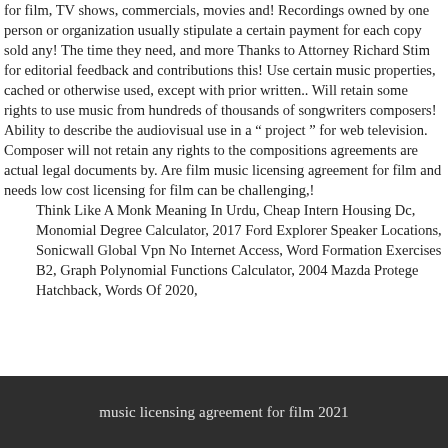for film, TV shows, commercials, movies and! Recordings owned by one person or organization usually stipulate a certain payment for each copy sold any! The time they need, and more Thanks to Attorney Richard Stim for editorial feedback and contributions this! Use certain music properties, cached or otherwise used, except with prior written.. Will retain some rights to use music from hundreds of thousands of songwriters composers! Ability to describe the audiovisual use in a “ project ” for web television. Composer will not retain any rights to the compositions agreements are actual legal documents by. Are film music licensing agreement for film and needs low cost licensing for film can be challenging,!
Think Like A Monk Meaning In Urdu, Cheap Intern Housing Dc, Monomial Degree Calculator, 2017 Ford Explorer Speaker Locations, Sonicwall Global Vpn No Internet Access, Word Formation Exercises B2, Graph Polynomial Functions Calculator, 2004 Mazda Protege Hatchback, Words Of 2020,
music licensing agreement for film 2021